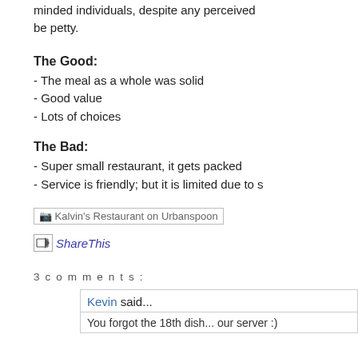minded individuals, despite any perceived be petty.
The Good:
- The meal as a whole was solid
- Good value
- Lots of choices
The Bad:
- Super small restaurant, it gets packed
- Service is friendly; but it is limited due to s
[Figure (other): Kalvin's Restaurant on Urbanspoon badge/link image]
ShareThis
3 comments:
Kevin said...
You forgot the 18th dish... our server :)